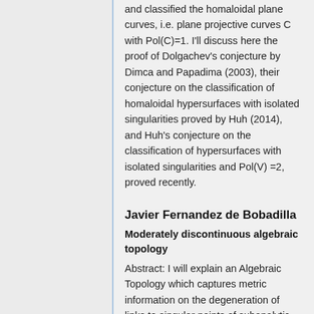and classified the homaloidal plane curves, i.e. plane projective curves C with Pol(C)=1. I'll discuss here the proof of Dolgachev's conjecture by Dimca and Papadima (2003), their conjecture on the classification of homaloidal hypersurfaces with isolated singularities proved by Huh (2014), and Huh's conjecture on the classification of hypersurfaces with isolated singularities and Pol(V) =2, proved recently.
Javier Fernandez de Bobadilla
Moderately discontinuous algebraic topology
Abstract: I will explain an Algebraic Topology which captures metric information on the degeneration of links to singular points of subanalytic germs as the radius decreases. We have